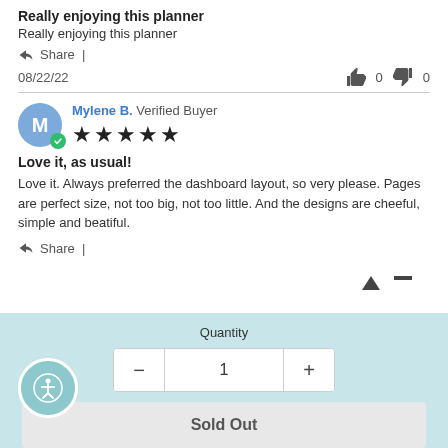Really enjoying this planner
Really enjoying this planner
Share  |
08/22/22
0   0
Mylene B. Verified Buyer ★★★★★
Love it, as usual!
Love it. Always preferred the dashboard layout, so very please. Pages are perfect size, not too big, not too little. And the designs are cheeful, simple and beatiful.
Share  |
Quantity
− 1 +
Sold Out